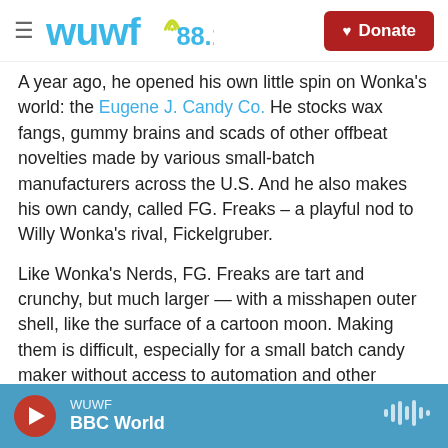WUWF 88.1 — Donate
A year ago, he opened his own little spin on Wonka's world: the Eugene J. Candy Co. He stocks wax fangs, gummy brains and scads of other offbeat novelties made by various small-batch manufacturers across the U.S. And he also makes his own candy, called FG. Freaks – a playful nod to Willy Wonka's rival, Fickelgruber.
Like Wonka's Nerds, FG. Freaks are tart and crunchy, but much larger — with a misshapen outer shell, like the surface of a cartoon moon. Making them is difficult, especially for a small batch candy maker without access to automation and other
WUWF — BBC World